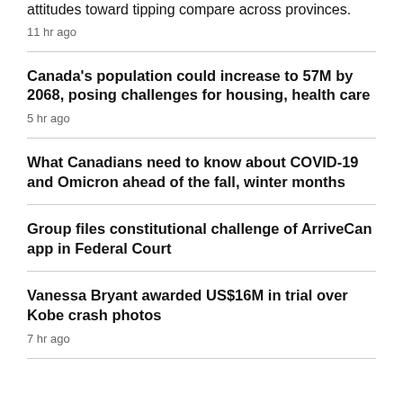attitudes toward tipping compare across provinces.
11 hr ago
Canada's population could increase to 57M by 2068, posing challenges for housing, health care
5 hr ago
What Canadians need to know about COVID-19 and Omicron ahead of the fall, winter months
Group files constitutional challenge of ArriveCan app in Federal Court
Vanessa Bryant awarded US$16M in trial over Kobe crash photos
7 hr ago